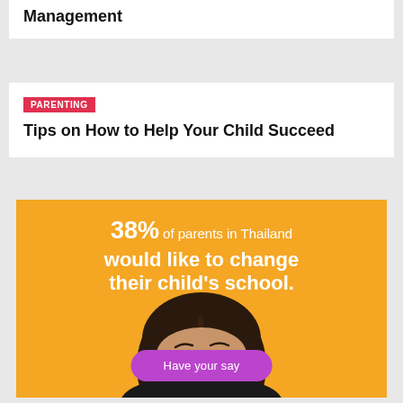Management
PARENTING
Tips on How to Help Your Child Succeed
[Figure (infographic): Orange background advertisement with text '38% of parents in Thailand would like to change their child's school.' with a photo of a woman looking surprised and a purple 'Have your say' button.]